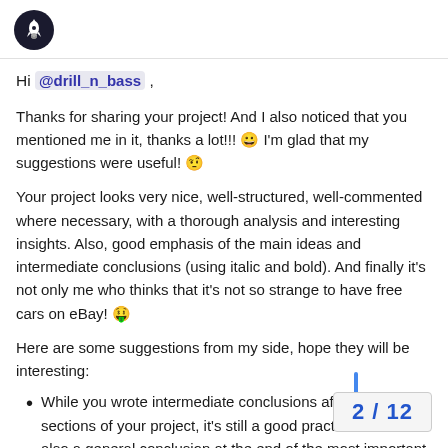[Rocket/bot logo icon]
Hi @drill_n_bass ,
Thanks for sharing your project! And I also noticed that you mentioned me in it, thanks a lot!!! 😀 I'm glad that my suggestions were useful! 🤨
Your project looks very nice, well-structured, well-commented where necessary, with a thorough analysis and interesting insights. Also, good emphasis of the main ideas and intermediate conclusions (using italic and bold). And finally it's not only me who thinks that it's not so strange to have free cars on eBay! 🤑
Here are some suggestions from my side, hope they will be interesting:
While you wrote intermediate conclusions after different sections of your project, it's still a good practice to write also a general conclusion at the end of the most important results.
2 / 12